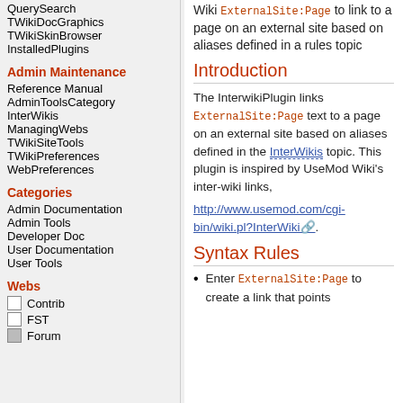QuerySearch
TWikiDocGraphics
TWikiSkinBrowser
InstalledPlugins
Admin Maintenance
Reference Manual
AdminToolsCategory
InterWikis
ManagingWebs
TWikiSiteTools
TWikiPreferences
WebPreferences
Categories
Admin Documentation
Admin Tools
Developer Doc
User Documentation
User Tools
Webs
Contrib
FST
Forum
Wiki ExternalSite:Page to link to a page on an external site based on aliases defined in a rules topic
Introduction
The InterwikiPlugin links ExternalSite:Page text to a page on an external site based on aliases defined in the InterWikis topic. This plugin is inspired by UseMod Wiki's inter-wiki links, http://www.usemod.com/cgi-bin/wiki.pl?InterWiki.
Syntax Rules
Enter ExternalSite:Page to create a link that points